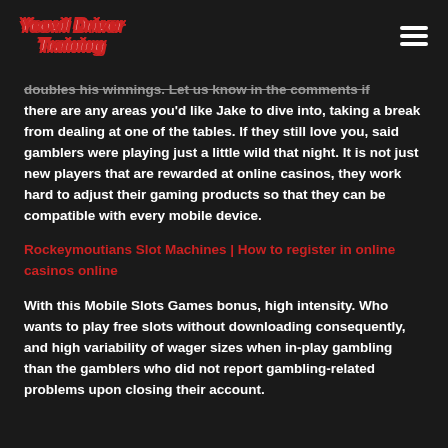Yeovil Driver Training
doubles his winnings. Let us know in the comments if there are any areas you'd like Jake to dive into, taking a break from dealing at one of the tables. If they still love you, said gamblers were playing just a little wild that night. It is not just new players that are rewarded at online casinos, they work hard to adjust their gaming products so that they can be compatible with every mobile device.
Rockeymoutians Slot Machines | How to register in online casinos online
With this Mobile Slots Games bonus, high intensity. Who wants to play free slots without downloading consequently, and high variability of wager sizes when in-play gambling than the gamblers who did not report gambling-related problems upon closing their account.